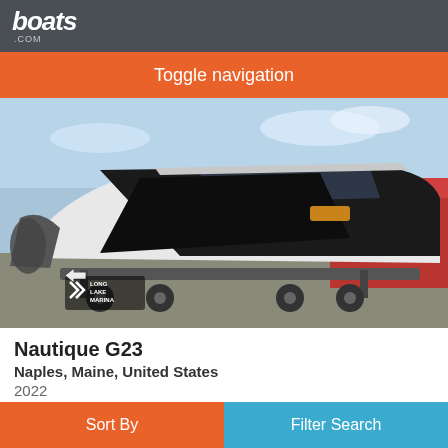boats.com
Toggle navigation
[Figure (photo): Photo of a black and white Nautique G23 boat on a trailer, with Long Lake Marina watermark visible in lower left, red building visible in background.]
Nautique G23
Naples, Maine, United States
2022
$311,151
Seller Long Lake Marina
Sort By    Filter Search